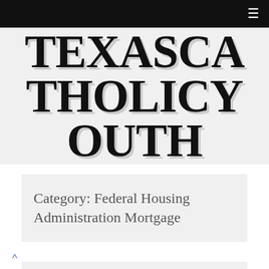≡
TEXAS CATHOLIC YOUTH
Category: Federal Housing Administration Mortgage